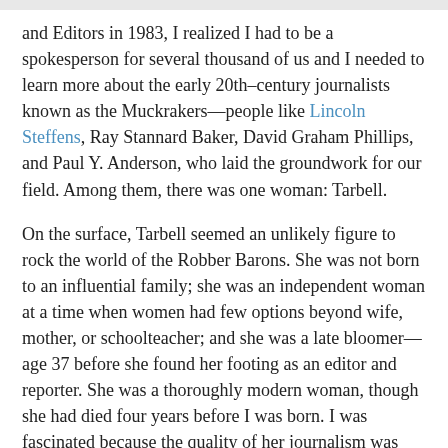and Editors in 1983, I realized I had to be a spokesperson for several thousand of us and I needed to learn more about the early 20th-century journalists known as the Muckrakers—people like Lincoln Steffens, Ray Stannard Baker, David Graham Phillips, and Paul Y. Anderson, who laid the groundwork for our field. Among them, there was one woman: Tarbell.
On the surface, Tarbell seemed an unlikely figure to rock the world of the Robber Barons. She was not born to an influential family; she was an independent woman at a time when women had few options beyond wife, mother, or schoolteacher; and she was a late bloomer—age 37 before she found her footing as an editor and reporter. She was a thoroughly modern woman, though she had died four years before I was born. I was fascinated because the quality of her journalism was astounding by any standard—and especially during an era of no open records laws, no photocopy machines, almost no telephone service, no air travel and few roadways or